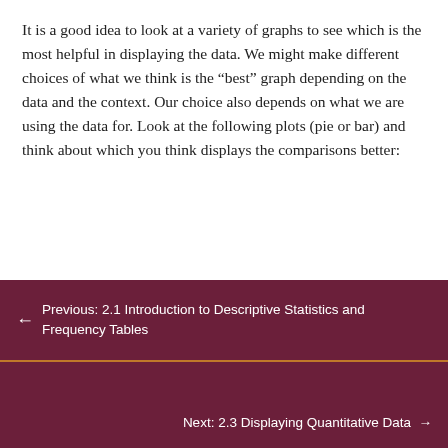It is a good idea to look at a variety of graphs to see which is the most helpful in displaying the data. We might make different choices of what we think is the “best” graph depending on the data and the context. Our choice also depends on what we are using the data for. Look at the following plots (pie or bar) and think about which you think displays the comparisons better:
[Figure (pie-chart): Partial pie chart showing Virginia Tech data with a slice labeled 7.8%]
[Figure (pie-chart): Partial pie chart showing Northern Virginia Community College data]
← Previous: 2.1 Introduction to Descriptive Statistics and Frequency Tables
Next: 2.3 Displaying Quantitative Data →